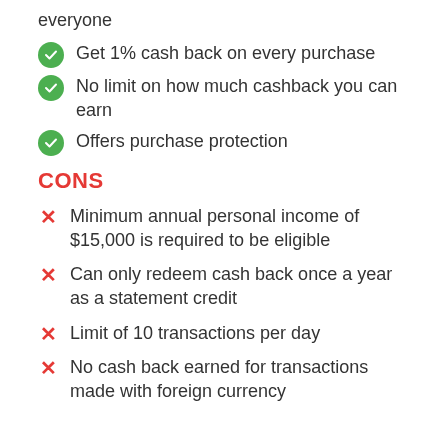everyone
Get 1% cash back on every purchase
No limit on how much cashback you can earn
Offers purchase protection
CONS
Minimum annual personal income of $15,000 is required to be eligible
Can only redeem cash back once a year as a statement credit
Limit of 10 transactions per day
No cash back earned for transactions made with foreign currency